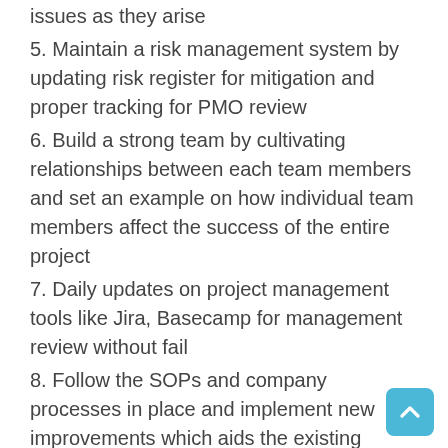issues as they arise
5. Maintain a risk management system by updating risk register for mitigation and proper tracking for PMO review
6. Build a strong team by cultivating relationships between each team members and set an example on how individual team members affect the success of the entire project
7. Daily updates on project management tools like Jira, Basecamp for management review without fail
8. Follow the SOPs and company processes in place and implement new improvements which aids the existing processes with management approval
9. Daily tracking of the tasks assigned, delegating and creating ownership of all the